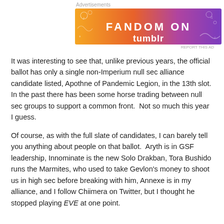[Figure (other): Fandom on Tumblr advertisement banner with orange-to-purple gradient and decorative doodles]
It was interesting to see that, unlike previous years, the official ballot has only a single non-Imperium null sec alliance candidate listed, Apothne of Pandemic Legion, in the 13th slot. In the past there has been some horse trading between null sec groups to support a common front.  Not so much this year I guess.
Of course, as with the full slate of candidates, I can barely tell you anything about people on that ballot.  Aryth is in GSF leadership, Innominate is the new Solo Drakban, Tora Bushido runs the Marmites, who used to take Gevlon's money to shoot us in high sec before breaking with him, Annexe is in my alliance, and I follow Chiimera on Twitter, but I thought he stopped playing EVE at one point.